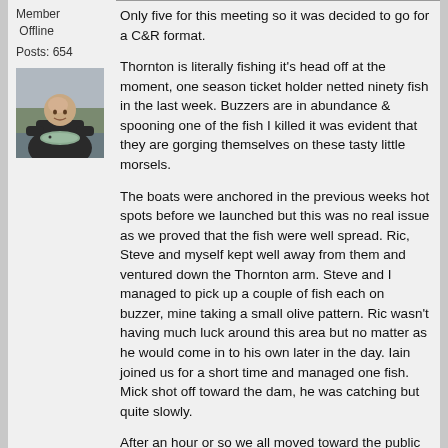Member
Offline
Posts: 654
[Figure (photo): Avatar photo of a man in dark jacket holding a fish outdoors]
Only five for this meeting so it was decided to go for a C&R format.
Thornton is literally fishing it's head off at the moment, one season ticket holder netted ninety fish in the last week. Buzzers are in abundance & spooning one of the fish I killed it was evident that they are gorging themselves on these tasty little morsels.
The boats were anchored in the previous weeks hot spots before we launched but this was no real issue as we proved that the fish were well spread. Ric, Steve and myself kept well away from them and ventured down the Thornton arm. Steve and I managed to pick up a couple of fish each on buzzer, mine taking a small olive pattern. Ric wasn't having much luck around this area but no matter as he would come in to his own later in the day. Iain joined us for a short time and managed one fish. Mick shot off toward the dam, he was catching but quite slowly.
After an hour or so we all moved toward the public car park and switched to intermediate lines and washing line set ups, this also proved very successful. Eventually Ric moved over to the wood